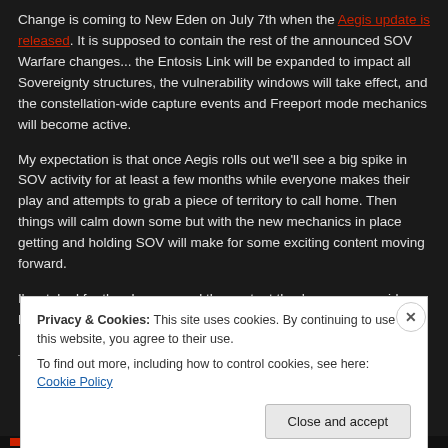Change is coming to New Eden on July 7th when the Aegis update is released. It is supposed to contain the rest of the announced SOV Warfare changes... the Entosis Link will be expanded to impact all Sovereignty structures, the vulnerability windows will take effect, and the constellation-wide capture events and Freeport mode mechanics will become active.
My expectation is that once Aegis rolls out we'll see a big spike in SOV activity for at least a few months while everyone makes their play and attempts to grab a piece of territory to call home. Then things will calm down some but with the new mechanics in place getting and holding SOV will make for some exciting content moving forward.
I'm stoked for the changes and the content they're gonna provide. Let's see how this plays out!
— — —
Privacy & Cookies: This site uses cookies. By continuing to use this website, you agree to their use.
To find out more, including how to control cookies, see here: Cookie Policy